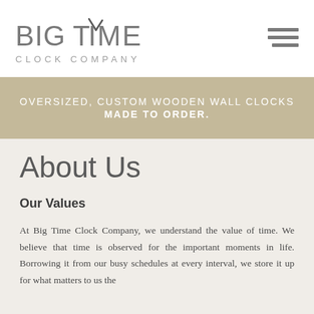BIGTIME CLOCK COMPANY
OVERSIZED, CUSTOM WOODEN WALL CLOCKS MADE TO ORDER.
About Us
Our Values
At Big Time Clock Company, we understand the value of time. We believe that time is observed for the important moments in life. Borrowing it from our busy schedules at every interval, we store it up for what matters to us the